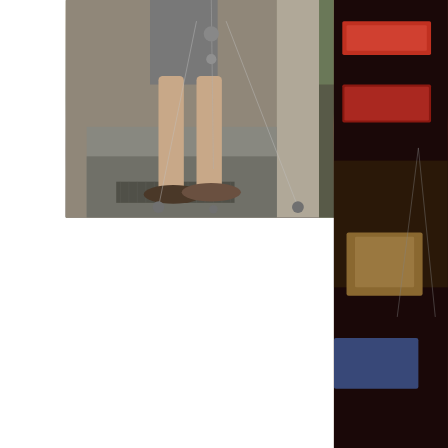[Figure (photo): Photo of a person's legs and feet in sandals standing next to a camera tripod on a concrete surface. The background shows a concrete wall and steps.]
[Figure (photo): Partial photo on the right side showing a dark street scene with shop signs.]
Mind telling us about yourself and your story on how you got into film photography?
Andrew: I became interested in photography because my dad had a couple of cameras at home in the early 70's and he wasn't using them. I borrowed them to take